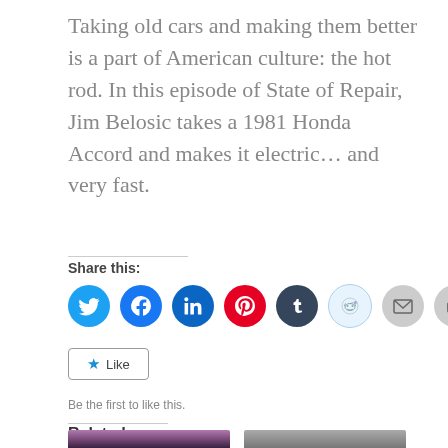Taking old cars and making them better is a part of American culture: the hot rod. In this episode of State of Repair, Jim Belosic takes a 1981 Honda Accord and makes it electric... and very fast.
Share this:
[Figure (infographic): Row of social sharing icon buttons: Twitter (blue), Facebook (blue), LinkedIn (teal/dark blue), Pinterest (red), Tumblr (dark navy), Reddit (light blue/outline), Email (gray), Print (gray)]
Like
Be the first to like this.
Related
[Figure (photo): Thumbnail image of mountains with purple/pink sky (left)]
[Figure (photo): Thumbnail black and white image (right)]